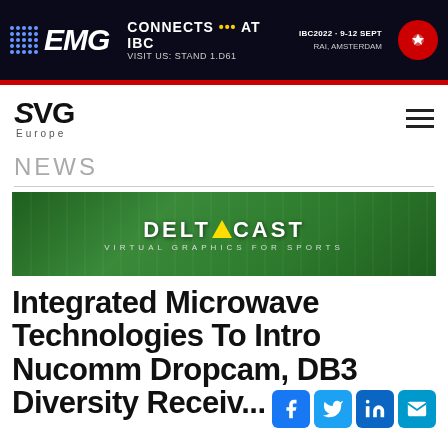[Figure (infographic): EMG banner ad: CONNECTS AT IBC, VISIT US: STAND 1.D61, IBC2022 9-12 SEPT RAI AMSTERDAM]
[Figure (logo): SVG Europe logo with hamburger menu]
NEWS
[Figure (infographic): Deltacast advertisement banner: Virtual Graphics for Sports]
Integrated Microwave Technologies To Intro Nucomm Dropcam, DB3 Diversity Receiv...